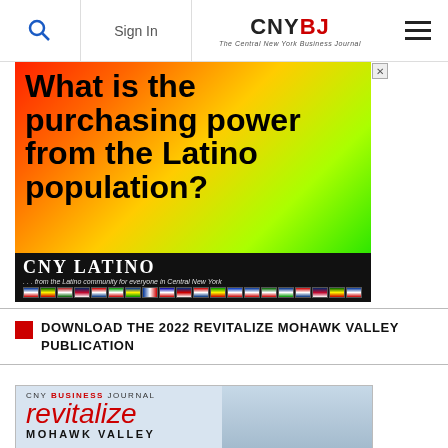Sign In | CNYBJ The Central New York Business Journal
[Figure (illustration): CNY Latino advertisement with colorful gradient background (red, orange, yellow, green). Large bold black text reads 'What is the purchasing power from the Latino population?' with CNY LATINO logo and tagline '...from the Latino community for everyone in Central New York' with country flags strip at bottom.]
DOWNLOAD THE 2022 REVITALIZE MOHAWK VALLEY PUBLICATION
[Figure (illustration): CNY Business Journal 'revitalize MOHAWK VALLEY' publication cover preview showing red italic revitalize text and city aerial background.]